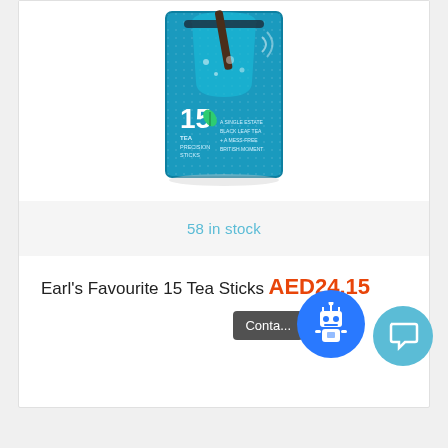[Figure (photo): Product image of Earl's Favourite 15 Tea Sticks box — teal/blue colored box with tea stick illustration, showing '15 tea precision sticks' text and 'A single estate black leaf tea + a mess-free British moment' tagline]
58 in stock
Earl's Favourite 15 Tea Sticks
AED24.15
[Figure (other): Chat widget: robot chatbot button (blue circle with robot icon) and contact tooltip saying 'Conta...' and a chat bubble button (lighter blue circle with speech bubble icon)]